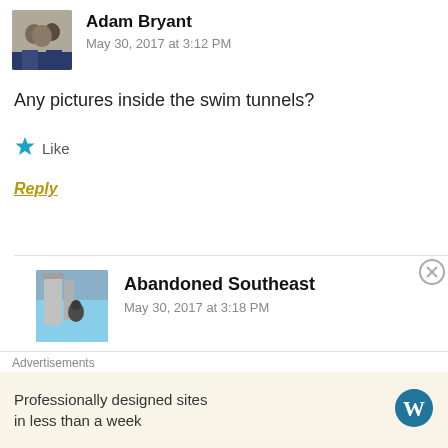Adam Bryant
May 30, 2017 at 3:12 PM
Any pictures inside the swim tunnels?
Like
Reply
Abandoned Southeast
May 30, 2017 at 3:18 PM
The tunnels are only about 5 feet long. They extended
Advertisements
Professionally designed sites in less than a week